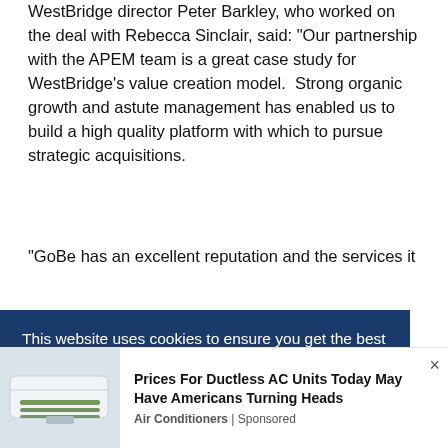WestBridge director Peter Barkley, who worked on the deal with Rebecca Sinclair, said: “Our partnership with the APEM team is a great case study for WestBridge’s value creation model.  Strong organic growth and astute management has enabled us to build a high quality platform with which to pursue strategic acquisitions.
“GoBe has an excellent reputation and the services it
[Figure (screenshot): Cookie consent banner with dark blue background stating 'This website uses cookies to ensure you get the best experience on our website.' with a 'Learn more' link]
[Figure (infographic): Advertisement banner for 'Prices For Ductless AC Units Today May Have Americans Turning Heads' by Air Conditioners | Sponsored, with an image of a ductless AC unit on the left]